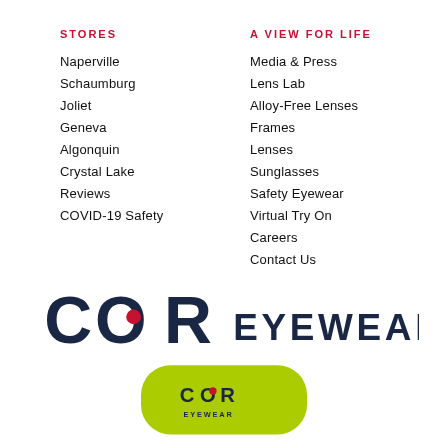STORES
Naperville
Schaumburg
Joliet
Geneva
Algonquin
Crystal Lake
Reviews
COVID-19 Safety
A VIEW FOR LIFE
Media & Press
Lens Lab
Alloy-Free Lenses
Frames
Lenses
Sunglasses
Safety Eyewear
Virtual Try On
Careers
Contact Us
[Figure (logo): COR Eyewear logo with dark navy text and a lime green glasses case below]